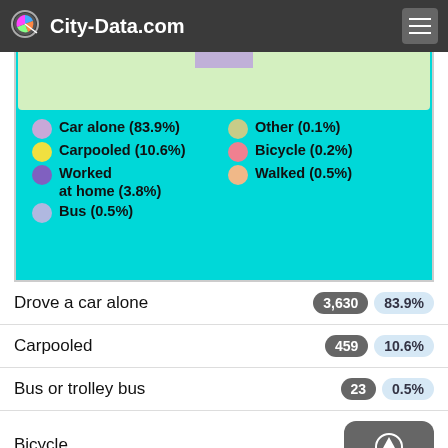City-Data.com
[Figure (pie-chart): Means of transportation to work]
Drove a car alone  3,630  83.9%
Carpooled  459  10.6%
Bus or trolley bus  23  0.5%
Bicycle
Walked  21  0.5%